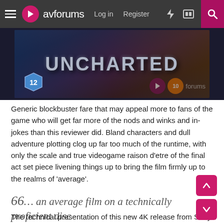avforums — Log in | Register
[Figure (photo): Uncharted movie banner/cover art with title text 'UNCHARTED', age rating badge '12', avforums play button and score badge watermark]
Generic blockbuster fare that may appeal more to fans of the game who will get far more of the nods and winks and in-jokes than this reviewer did. Bland characters and dull adventure plotting clog up far too much of the runtime, with only the scale and true videogame raison d'etre of the final act set piece livening things up to bring the film firmly up to the realms of 'average'.
66… an average film on a technically proficient disc
The technical presentation of this new 4K release from Sony is as good as should now be expected from a studio who consistently produces the goods. Not quite visual and sonic